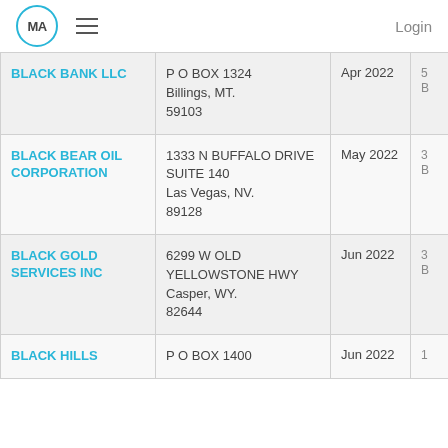MA  ≡  Login
| Company | Address | Date |  |
| --- | --- | --- | --- |
| BLACK BANK LLC | P O BOX 1324
Billings, MT. 59103 | Apr 2022 | 5
B |
| BLACK BEAR OIL CORPORATION | 1333 N BUFFALO DRIVE SUITE 140
Las Vegas, NV. 89128 | May 2022 | 3
B |
| BLACK GOLD SERVICES INC | 6299 W OLD YELLOWSTONE HWY
Casper, WY. 82644 | Jun 2022 | 3
B |
| BLACK HILLS | P O BOX 1400 | Jun 2022 | 1 |